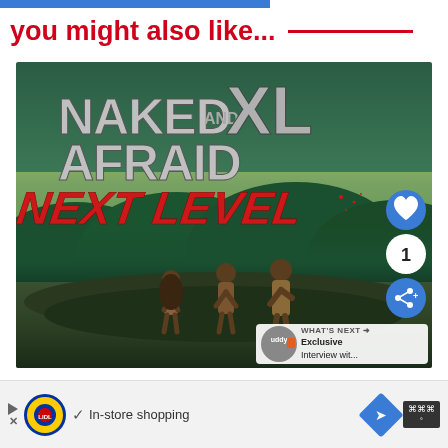you might also like...
[Figure (screenshot): Screenshot of a TV show recommendation card for 'Naked and Afraid XL: Next Level', showing three silhouetted figures standing on a rocky overlook with jungle background, with heart/like button, share button showing count of 1, and a 'What's Next' overlay showing a buddy logo and 'Exclusive Interview wit...' text]
[Figure (screenshot): Advertisement bar at the bottom showing Lidl logo, checkmark, 'In-store shopping' text, a blue map pin icon, and a weather/app badge]